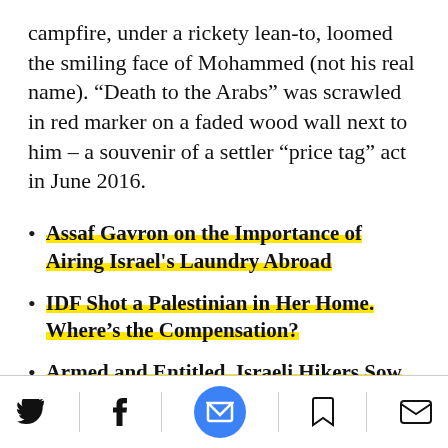campfire, under a rickety lean-to, loomed the smiling face of Mohammed (not his real name). “Death to the Arabs” was scrawled in red marker on a faded wood wall next to him – a souvenir of a settler “price tag” act in June 2016.
Assaf Gavron on the Importance of Airing Israel's Laundry Abroad
IDF Shot a Palestinian in Her Home. Where’s the Compensation?
Armed and Entitled, Israeli Hikers Sow Fear in Palestinian Village